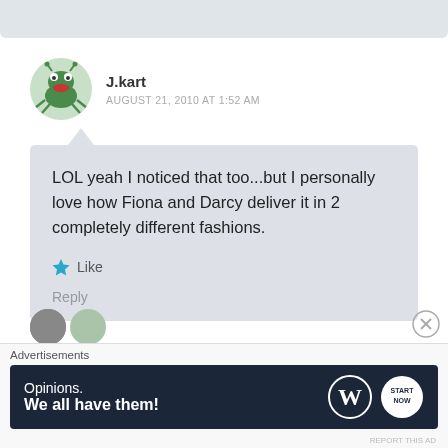[Figure (illustration): Gray rounded rectangle bar at top representing bottom of previous comment]
[Figure (illustration): Cartoon frog/crab avatar for user J.kart]
J.kart
AUGUST 21, 2010 AT 1:52 AM
LOL yeah I noticed that too...but I personally love how Fiona and Darcy deliver it in 2 completely different fashions.
Like
Reply
Advertisements
[Figure (screenshot): WordPress advertisement banner: 'Opinions. We all have them!' with WordPress logo and another circular logo on dark background]